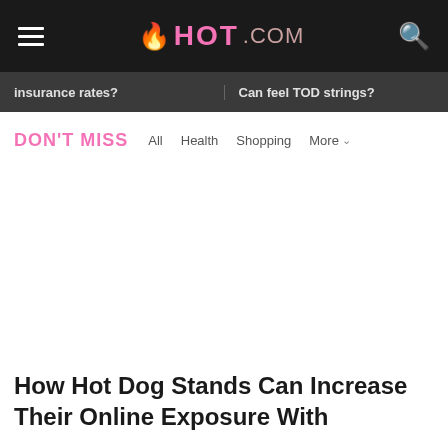HOT.COM
insurance rates? | Can feel TOD strings?
DON'T MISS
All  Health  Shopping  More
How Hot Dog Stands Can Increase Their Online Exposure With